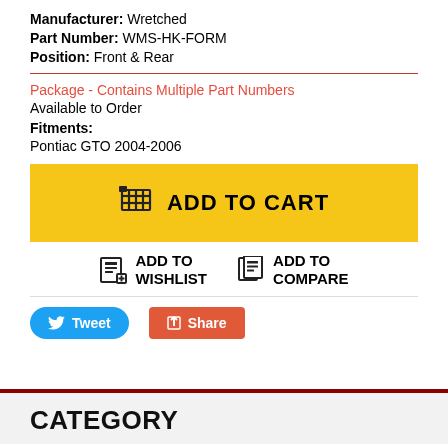Manufacturer: Wretched
Part Number: WMS-HK-FORM
Position: Front & Rear
Package - Contains Multiple Part Numbers
Available to Order
Fitments:
Pontiac GTO 2004-2006
ADD TO CART
ADD TO WISHLIST
ADD TO COMPARE
Tweet
Share
CATEGORY